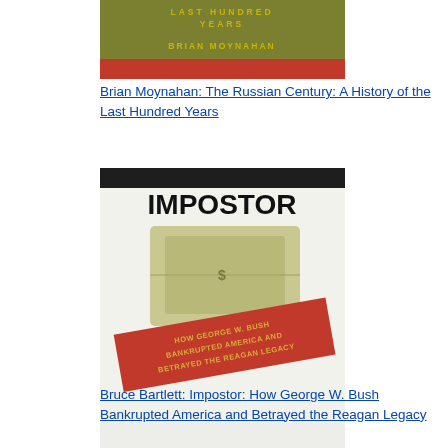[Figure (illustration): Book cover: Brian Moynahan - The Russian Century: A History of the Last Hundred Years]
Brian Moynahan: The Russian Century: A History of the Last Hundred Years
[Figure (illustration): Book cover: Bruce Bartlett - Impostor: How George W. Bush Bankrupted America and Betrayed the Reagan Legacy]
Bruce Bartlett: Impostor: How George W. Bush Bankrupted America and Betrayed the Reagan Legacy
[Figure (illustration): Book cover: Bruce Bawer - Stealing Jesus: How Fundamentalism Betrays Christianity]
Bruce Bawer: Stealing Jesus: How Fundamentalism Betrays Christianity